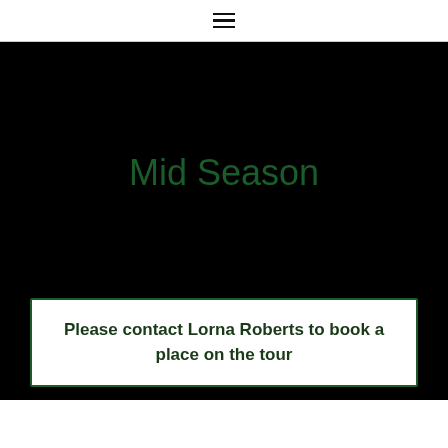≡
Mid Season
Please contact Lorna Roberts to book a place on the tour